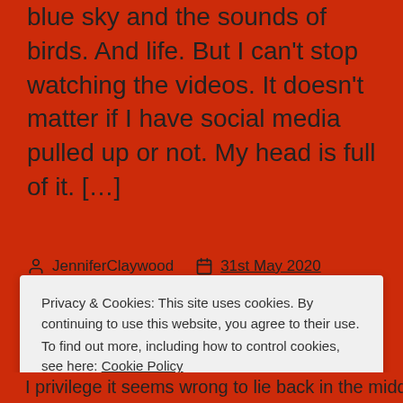blue sky and the sounds of birds. And life. But I can't stop watching the videos. It doesn't matter if I have social media pulled up or not. My head is full of it. […]
JenniferClaywood   31st May 2020
Day in the Life
#racism #icantbreathe #BLM #whilesleeping #jenniferclaywood
Privacy & Cookies: This site uses cookies. By continuing to use this website, you agree to their use.
To find out more, including how to control cookies, see here: Cookie Policy
I think it seems wrong to lie back in the middle of